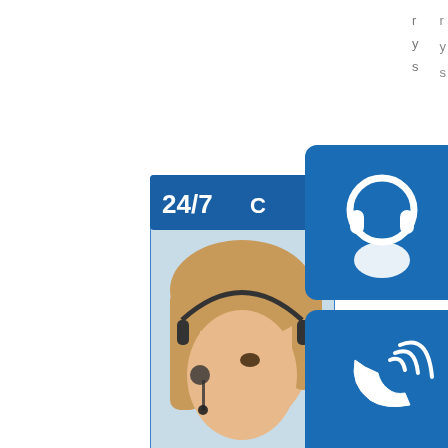[Figure (infographic): Customer support infographic showing a woman with headset, '24/7' text, blue icons for customer support (headset icon), phone call (telephone icon), and Skype (S logo), plus 'online live' banner and 'PROVIDE / Empowering Cu...' text]
r
y
s
0
1
□
0
4
□
: